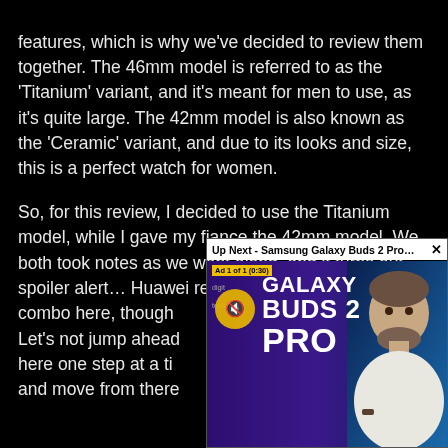features, which is why we've decided to review them together. The 46mm model is referred to as the 'Titanium' variant, and it's meant for men to use, as it's quite large. The 42mm model is also known as the 'Ceramic' variant, and due to its looks and size, this is a perfect watch for women.
So, for this review, I decided to use the Titanium model, while I gave my fiance the 42mm model. We both took notes as we went along, and it turns out… spoiler alert… Huawei really does have a winner combo here, though Let's not jump ahead here one step at a time and move from there
[Figure (screenshot): Video overlay popup showing 'Up Next - Samsung Galaxy Buds 2 Pro r...' with an ad label 'Ad 1 of 1 (0:30)', a muted audio icon (yellow circle with mute symbol), text reading 'GALAXY BUDS 2 PRO' in large white bold font on a purple/blue background, and a person (man with beard, white t-shirt) visible on the right side. A close X button appears in the top right.]